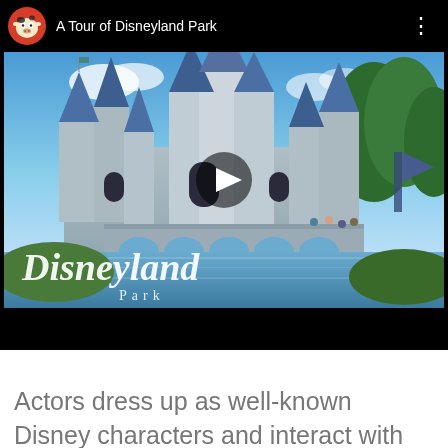[Figure (screenshot): YouTube-style video embed showing a Disneyland Park castle thumbnail. Header bar shows channel icon (cartoon cow with red circle), title 'A Tour of Disneyland Park', and a three-dot menu. Center has a play button. Bottom of image shows 'Disneyland Park' text watermark over a photo of Sleeping Beauty Castle with moat and bridge.]
Actors dress up as well-known Disney characters and interact with patrons. The